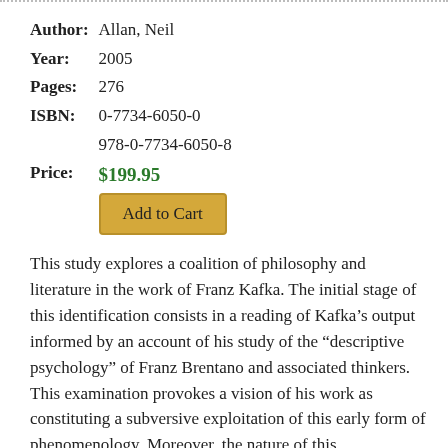| Author: | Allan, Neil |
| Year: | 2005 |
| Pages: | 276 |
| ISBN: | 0-7734-6050-0 |
|  | 978-0-7734-6050-8 |
| Price: | $199.95 |
This study explores a coalition of philosophy and literature in the work of Franz Kafka. The initial stage of this identification consists in a reading of Kafka's output informed by an account of his study of the “descriptive psychology” of Franz Brentano and associated thinkers. This examination provokes a vision of his work as constituting a subversive exploitation of this early form of phenomenology. Moreover, the nature of this appropriation seems to be that which renders his writing so conducive to recent